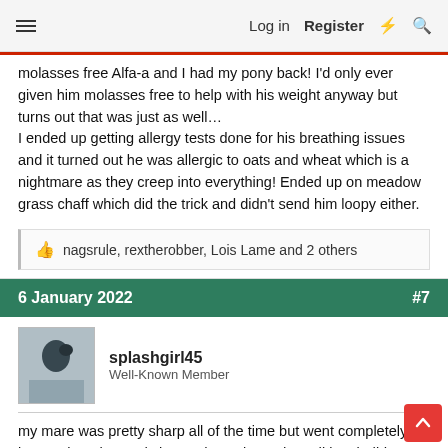≡   Log in   Register   ⚡   🔍
molasses free Alfa-a and I had my pony back! I'd only ever given him molasses free to help with his weight anyway but turns out that was just as well…
I ended up getting allergy tests done for his breathing issues and it turned out he was allergic to oats and wheat which is a nightmare as they creep into everything! Ended up on meadow grass chaff which did the trick and didn't send him loopy either.
nagsrule, rextherobber, Lois Lame and 2 others
6 January 2022    #7
splashgirl45
Well-Known Member
my mare was pretty sharp all of the time but went completely loopy when the yard changed to calm and condition. it didnt affect any of the others but after taking her off it she went back to being just sharp after about 4 days. the same when all were given a load of